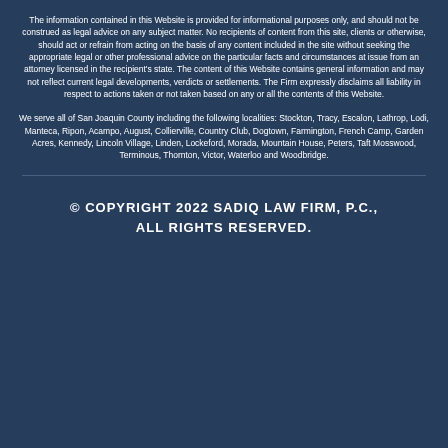The information contained in this Website is provided for informational purposes only, and should not be construed as legal advice on any subject matter. No recipients of content from this site, clients or otherwise, should act or refrain from acting on the basis of any content included in the site without seeking the appropriate legal or other professional advice on the particular facts and circumstances at issue from an attorney licensed in the recipient's state. The content of this Website contains general information and may not reflect current legal developments, verdicts or settlements. The Firm expressly disclaims all liability in respect to actions taken or not taken based on any or all the contents of this Website.
We serve all of San Joaquin County including the following localities: Stockton, Tracy, Escalon, Lathrop, Lodi, Manteca, Ripon, Acampo, August, Collierville, Country Club, Dogtown, Farmington, French Camp, Garden Acres, Kennedy, Lincoln Village, Linden, Lockeford, Morada, Mountain House, Peters, Taft Mosswood, Terminous, Thornton, Victor, Waterloo and Woodbridge.
© COPYRIGHT 2022 SADIQ LAW FIRM, P.C., ALL RIGHTS RESERVED.